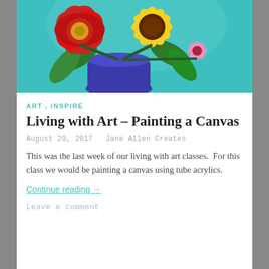[Figure (illustration): Acrylic painting of colorful flowers in a blue vase on a teal background. Features a large red flower on the left, a sunflower in the center, green leaves, and a small pink flower on the right.]
ART , INSPIRE
Living with Art – Painting a Canvas
August 20, 2017   Jane Allen Creates
This was the last week of our living with art classes.  For this class we would be painting a canvas using tube acrylics.
Continue reading →
Leave a comment